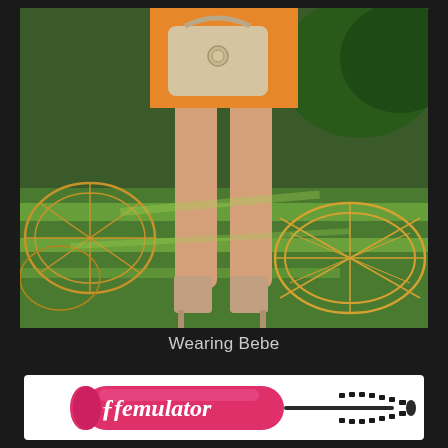[Figure (photo): Fashion photo showing woman's legs in nude heeled sandals, wearing an orange skirt and holding a beige handbag. Background shows green grass lawn and rattan/wicker furniture pieces (chairs and round ottomans). Outdoor setting with trees visible.]
Wearing Bebe
[Figure (logo): Femulator mascara wand logo: pink elongated tube/barrel with cursive white text 'femulator' and a mascara wand brush extending to the right.]